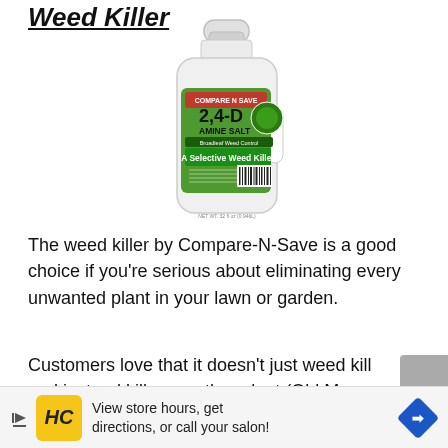Weed Killer
[Figure (photo): A white plastic bottle of Compare N Save 2,4-D Amine Salt Selective Weed Killer with a green label.]
The weed killer by Compare-N-Save is a good choice if you're serious about eliminating every unwanted plant in your lawn or garden.
Customers love that it doesn't just weed kill and instead kills any other plant (Old Man Pearson
[Figure (infographic): Advertisement banner: HC logo, play arrow, text 'View store hours, get directions, or call your salon!', blue direction sign icon.]